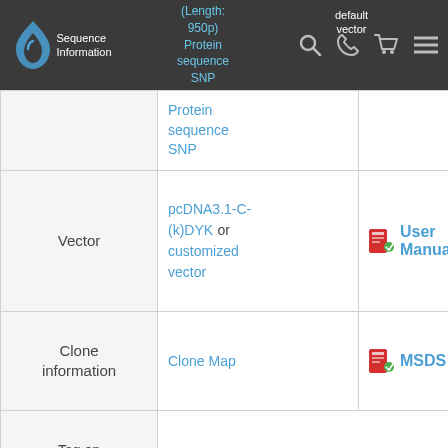Sequence Information | (Length: 950p) Protein sequence SNP | default vector
|  | Details | Resources |
| --- | --- | --- |
|  | Protein sequence SNP |  |
| Vector | pcDNA3.1-C-(k)DYK or customized vector | User Manual |
| Clone information | Clone Map | MSDS |
| Tag on pcDNA3.1+/C-(K)DYK | C terminal DYKDDDDK tags |  |
| ORF Insert Method | CloneEZ™ Seamless cloning technology |  |
| Insert |  |  |